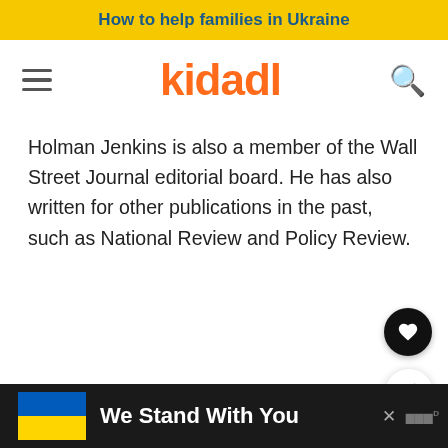How to help families in Ukraine
[Figure (logo): Kidadl logo with hamburger menu and search icon]
Holman Jenkins is also a member of the Wall Street Journal editorial board. He has also written for other publications in the past, such as National Review and Policy Review.
[Figure (infographic): We Stand With You ad banner with Ukrainian flag]
We Stand With You